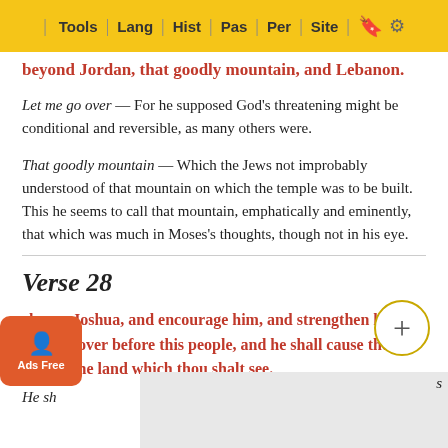Tools | Lang | Hist | Pas | Per | Site
beyond Jordan, that goodly mountain, and Lebanon.
Let me go over — For he supposed God's threatening might be conditional and reversible, as many others were.
That goodly mountain — Which the Jews not improbably understood of that mountain on which the temple was to be built. This he seems to call that mountain, emphatically and eminently, that which was much in Moses's thoughts, though not in his eye.
Verse 28
charge Joshua, and encourage him, and strengthen him; he shall go over before this people, and he shall cause them to inherit the land which thou shalt see.
He sh...s